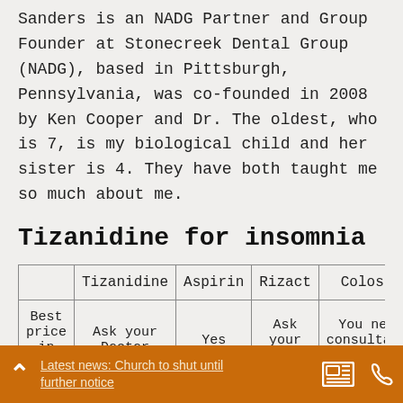Sanders is an NADG Partner and Group Founder at Stonecreek Dental Group (NADG), based in Pittsburgh, Pennsylvania, was co-founded in 2008 by Ken Cooper and Dr. The oldest, who is 7, is my biological child and her sister is 4. They have both taught me so much about me.
Tizanidine for insomnia
|  | Tizanidine | Aspirin | Rizact | Colospa |
| --- | --- | --- | --- | --- |
| Best price in UK | Ask your Doctor | Yes | Ask your Doctor | You need consultation |
| Best |  |  |  |  |
Latest news: Church to shut until further notice